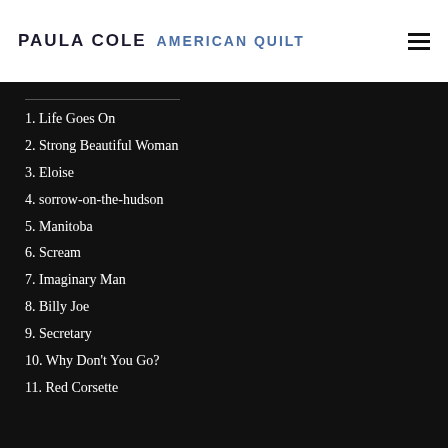PAULA COLE  AMERICAN QUILT
1. Life Goes On
2. Strong Beautiful Woman
3. Eloise
4. sorrow-on-the-hudson
5. Manitoba
6. Scream
7. Imaginary Man
8. Billy Joe
9. Secretary
10. Why Don't You Go?
11. Red Corsette